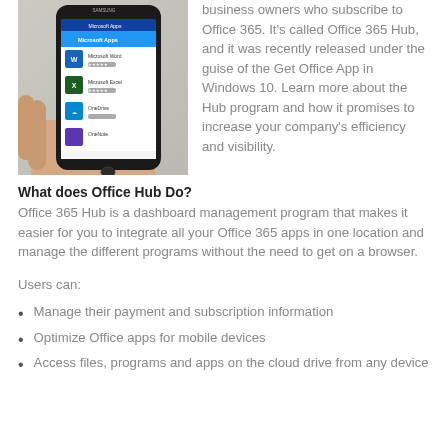[Figure (photo): A hand holding a Samsung Android smartphone displaying the Microsoft Apps screen with Office apps listed including Microsoft Word, Microsoft Excel, OneDrive, and other apps.]
business owners who subscribe to Office 365. It's called Office 365 Hub, and it was recently released under the guise of the Get Office App in Windows 10. Learn more about the Hub program and how it promises to increase your company's efficiency and visibility.
What does Office Hub Do?
Office 365 Hub is a dashboard management program that makes it easier for you to integrate all your Office 365 apps in one location and manage the different programs without the need to get on a browser.
Users can:
Manage their payment and subscription information
Optimize Office apps for mobile devices
Access files, programs and apps on the cloud drive from any device